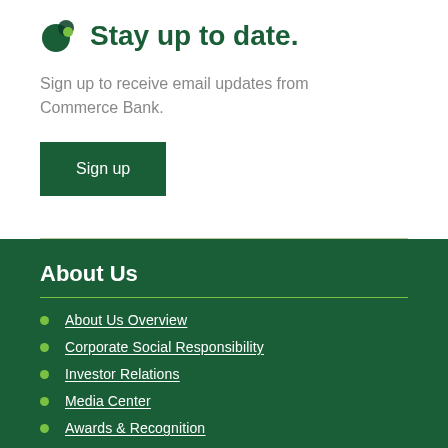Stay up to date.
Sign up to receive email updates from Commerce Bank.
Sign up
About Us
About Us Overview
Corporate Social Responsibility
Investor Relations
Media Center
Awards & Recognition